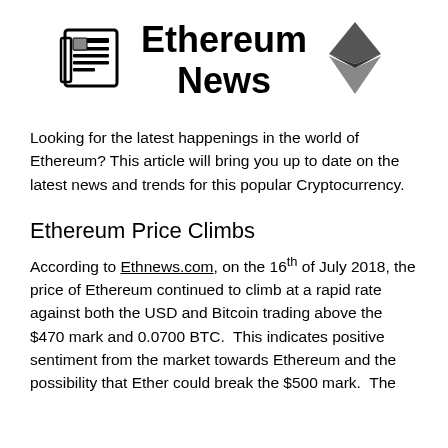Ethereum News
Looking for the latest happenings in the world of Ethereum? This article will bring you up to date on the latest news and trends for this popular Cryptocurrency.
Ethereum Price Climbs
According to Ethnews.com, on the 16th of July 2018, the price of Ethereum continued to climb at a rapid rate against both the USD and Bitcoin trading above the $470 mark and 0.0700 BTC.  This indicates positive sentiment from the market towards Ethereum and the possibility that Ether could break the $500 mark.  The